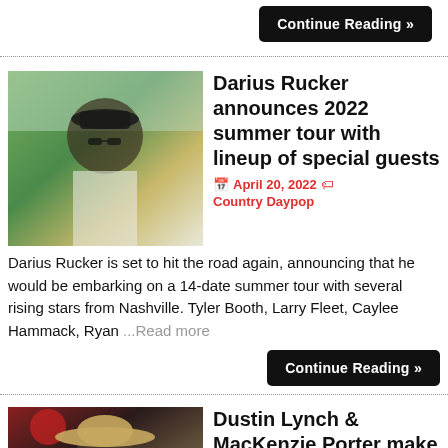Continue Reading »
[Figure (photo): Darius Rucker performing on stage, wearing a black cap and sunglasses, holding a microphone, white shirt, outdoor setting with trees in background]
Darius Rucker announces 2022 summer tour with lineup of special guests
April 20, 2022
Country Daypop
Darius Rucker is set to hit the road again, announcing that he would be embarking on a 14-date summer tour with several rising stars from Nashville. Tyler Booth, Larry Fleet, Caylee Hammack, Ryan ...Read more
Continue Reading »
[Figure (photo): Dustin Lynch performing on stage wearing a tan cowboy hat, dark background with red lighting]
Dustin Lynch & MacKenzie Porter make history on Billboard